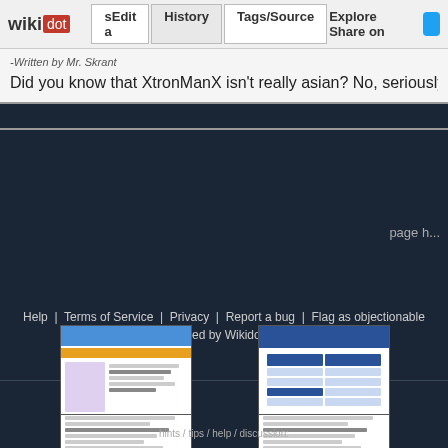wikidot | Edit | History | Tags | Source | Explore | Share on Twitter
-Written by Mr. Skrant
Did you know that XtronManX isn't really asian? No, seriously, I'm pretty s
page h...
Help  |  Terms of Service  |  Privacy  |  Report a bug  |  Flag as objectionable
Powered by Wikidot.com
[Figure (screenshot): Screenshot thumbnail 1 - webpage with red header]
[Figure (screenshot): Screenshot thumbnail 2 - webpage with green header]
[Figure (screenshot): Screenshot thumbnail 3 - webpage with blue/orange elements]
[Figure (screenshot): Screenshot thumbnail 4 - webpage with blue header and table layout]